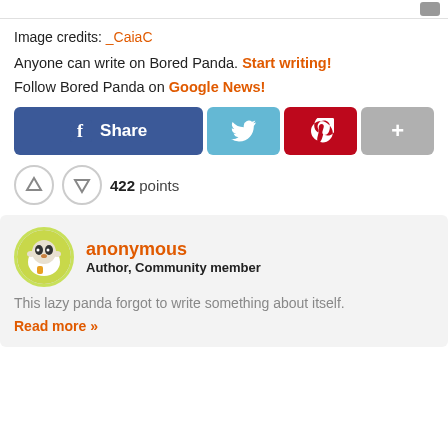Image credits: _CaiaC
Anyone can write on Bored Panda. Start writing!
Follow Bored Panda on Google News!
[Figure (infographic): Social sharing buttons: Facebook Share, Twitter, Pinterest, and More (+)]
422 points
anonymous
Author, Community member
This lazy panda forgot to write something about itself.
Read more »